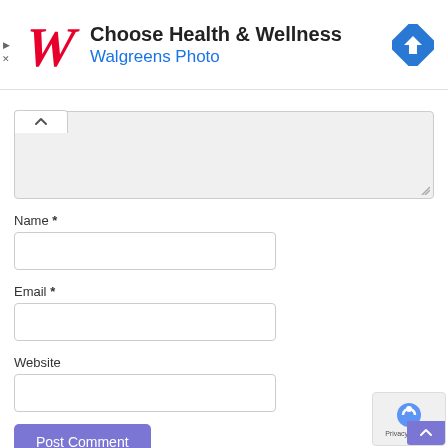[Figure (advertisement): Walgreens advertisement banner with red W logo, 'Choose Health & Wellness' headline, 'Walgreens Photo' subheading in blue, and a blue diamond-shaped map/directions icon on the right.]
[Figure (screenshot): Web form with collapse tab showing caret-up icon, a comment textarea (light gray, empty), fields for Name *, Email *, Website, a purple Post Comment button, and a reCAPTCHA badge in bottom right corner.]